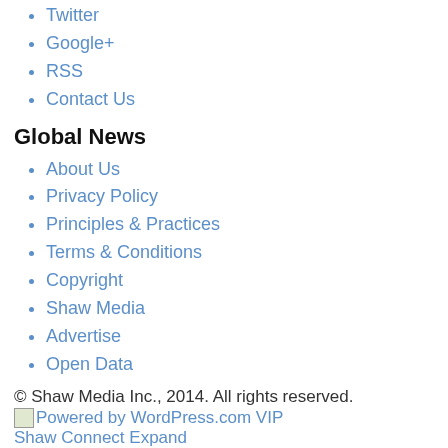Twitter
Google+
RSS
Contact Us
Global News
About Us
Privacy Policy
Principles & Practices
Terms & Conditions
Copyright
Shaw Media
Advertise
Open Data
© Shaw Media Inc., 2014. All rights reserved.
Powered by WordPress.com VIP
Shaw Connect Expand
News
Entertainment
Entertainment Home
Celebs
Movies